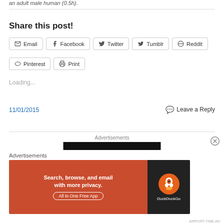an adult male human (0.5h).
Share this post!
Email  Facebook  Twitter  Tumblr  Reddit  Pinterest  Print
Loading...
11/01/2015
Leave a Reply
Advertisements
[Figure (screenshot): Advertisement banner for DuckDuckGo: Search, browse, and email with more privacy. All in One Free App]
Advertisements